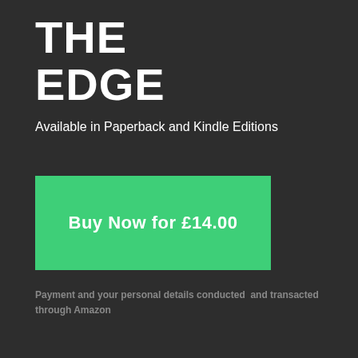THE EDGE
Available in Paperback and Kindle Editions
Buy Now for £14.00
Payment and your personal details conducted  and transacted through Amazon